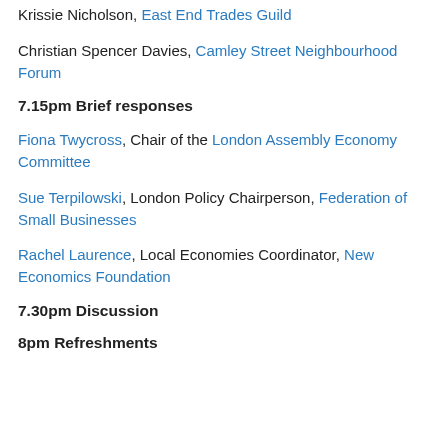Krissie Nicholson, East End Trades Guild
Christian Spencer Davies, Camley Street Neighbourhood Forum
7.15pm Brief responses
Fiona Twycross, Chair of the London Assembly Economy Committee
Sue Terpilowski, London Policy Chairperson, Federation of Small Businesses
Rachel Laurence, Local Economies Coordinator, New Economics Foundation
7.30pm Discussion
8pm Refreshments